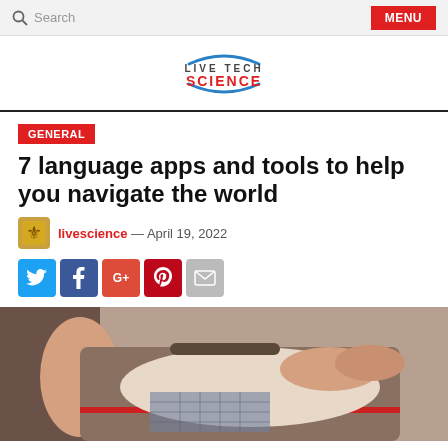Search  MENU
[Figure (logo): Live Tech Science logo with blue swoosh arcs and red SCIENCE text]
GENERAL
7 language apps and tools to help you navigate the world
livescience — April 19, 2022
[Figure (infographic): Social sharing icons: Twitter (blue bird), Facebook (blue f), Google+ (red G+), Pinterest (red P), Email (envelope)]
[Figure (photo): Person packing a suitcase, folding clothes into an open luggage bag]